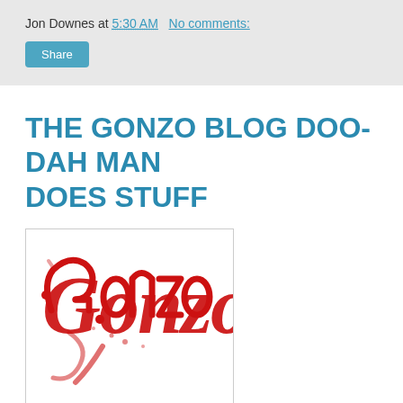Jon Downes at 5:30 AM   No comments:
Share
THE GONZO BLOG DOO-DAH MAN DOES STUFF
[Figure (logo): Gonzo logo in red brush-script lettering]
The Gonzo Daily: Monday/Tuesday
https://gonzo-multimedia.blogspot.com/
Several ladies from the Gonzo extended family have introduced me to another way of wasting my already